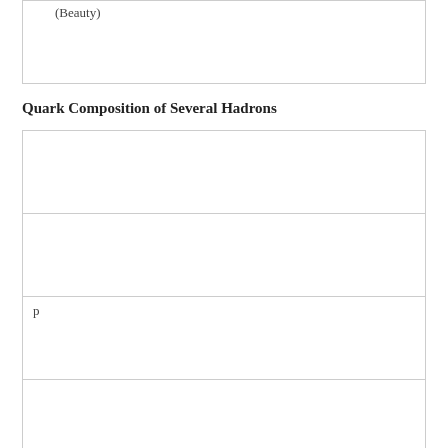| (Beauty) |
|  |
| p |
|  |
Quark Composition of Several Hadrons
|  |
|  |
| p |
|  |